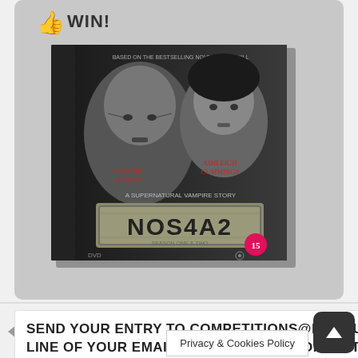[Figure (illustration): DVD box set for NOS4A2 Season One and Two, showing two characters' faces and a number plate reading NOS4A2, with a 15 rating badge. Below the DVD image is a thumbs-up icon.]
WIN!
SEND YOUR ENTRY TO COMPETITIONS@FILMJUICE.COM WITH THE ANSWER IN THE SUBJECT LINE OF YOUR EMAIL. INCLUDE FULL CONTACT DETAILS. GOOD LUCK!
Privacy & Cookies Policy